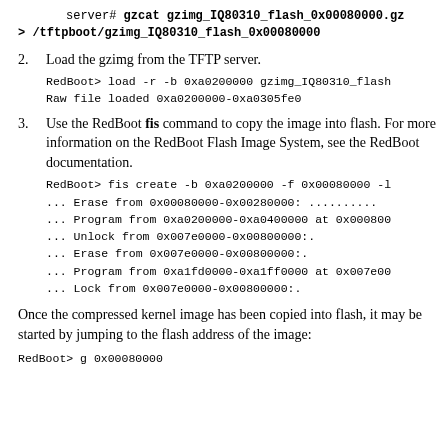server# gzcat gzimg_IQ80310_flash_0x00080000.gz > /tftpboot/gzimg_IQ80310_flash_0x00080000
2. Load the gzimg from the TFTP server.
RedBoot> load -r -b 0xa0200000 gzimg_IQ80310_flash
Raw file loaded 0xa0200000-0xa0305fe0
3. Use the RedBoot fis command to copy the image into flash. For more information on the RedBoot Flash Image System, see the RedBoot documentation.
RedBoot> fis create -b 0xa0200000 -f 0x00080000 -l
... Erase from 0x00080000-0x00280000: ..........
... Program from 0xa0200000-0xa0400000 at 0x000800
... Unlock from 0x007e0000-0x00800000:.
... Erase from 0x007e0000-0x00800000:.
... Program from 0xa1fd0000-0xa1ff0000 at 0x007e00
... Lock from 0x007e0000-0x00800000:.
Once the compressed kernel image has been copied into flash, it may be started by jumping to the flash address of the image:
RedBoot> g 0x00080000